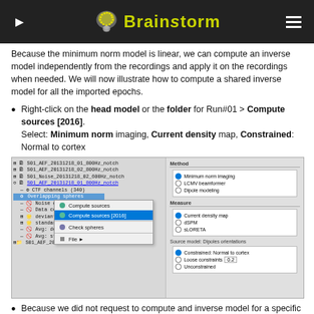Brainstorm
Because the minimum norm model is linear, we can compute an inverse model independently from the recordings and apply it on the recordings when needed. We will now illustrate how to compute a shared inverse model for all the imported epochs.
Right-click on the head model or the folder for Run#01 > Compute sources [2016]. Select: Minimum norm imaging, Current density map, Constrained: Normal to cortex
[Figure (screenshot): Screenshot showing Brainstorm tree view with context menu options 'Compute sources', 'Compute sources [2016]', 'Check spheres', 'File', and dialog panel with Method (Minimum norm imaging selected), Measure (Current density map selected), Source model Dipoles orientations (Constrained: Normal to cortex selected)]
Because we did not request to compute and inverse model for a specific block of recordings, it computed a shared inverse model. If you right-click on this new file, you get a warning